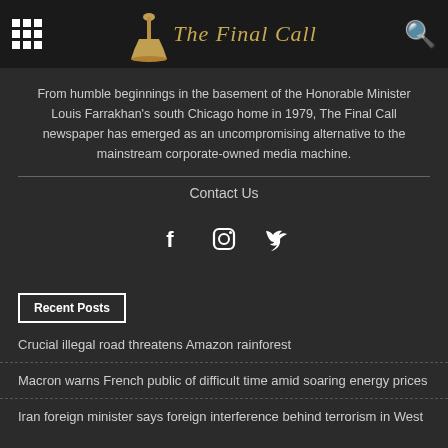The Final Call
From humble beginnings in the basement of the Honorable Minister Louis Farrakhan's south Chicago home in 1979, The Final Call newspaper has emerged as an uncompromising alternative to the mainstream corporate-owned media machine.
Contact Us
[Figure (infographic): Social media icons: Facebook (f), Instagram, Twitter]
Recent Posts
Crucial illegal road threatens Amazon rainforest
Macron warns French public of difficult time amid soaring energy prices
Iran foreign minister says foreign interference behind terrorism in West